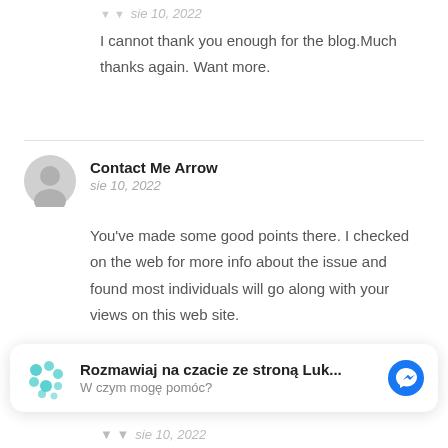▼ ▼ sie 10, 2022
I cannot thank you enough for the blog.Much thanks again. Want more.
Contact Me Arrow
sie 10, 2022
You've made some good points there. I checked on the web for more info about the issue and found most individuals will go along with your views on this web site.
[Figure (infographic): Facebook Messenger chat widget banner with teal dot logo, text 'Rozmawiaj na czacie ze stroną Luk...' and 'W czym mogę pomóc?', and a blue Messenger icon on the right.]
▼ ▼ sie 10, 2022